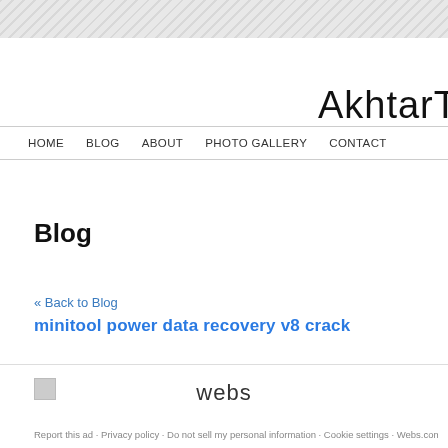AkhtarT
HOME   BLOG   ABOUT   PHOTO GALLERY   CONTACT
Blog
« Back to Blog
minitool power data recovery v8 crack
[Figure (logo): webs logo footer]